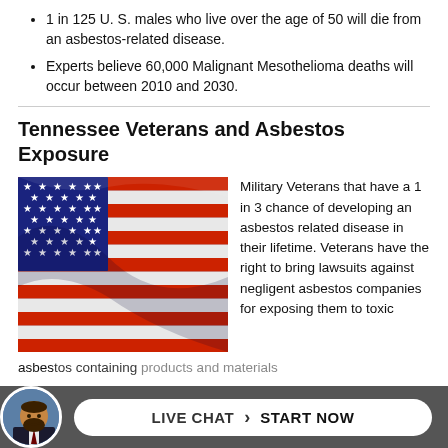1 in 125 U. S. males who live over the age of 50 will die from an asbestos-related disease.
Experts believe 60,000 Malignant Mesothelioma deaths will occur between 2010 and 2030.
Tennessee Veterans and Asbestos Exposure
[Figure (photo): Close-up photograph of an American flag showing stars and red/white stripes.]
Military Veterans that have a 1 in 3 chance of developing an asbestos related disease in their lifetime. Veterans have the right to bring lawsuits against negligent asbestos companies for exposing them to toxic asbestos containing products and materials.